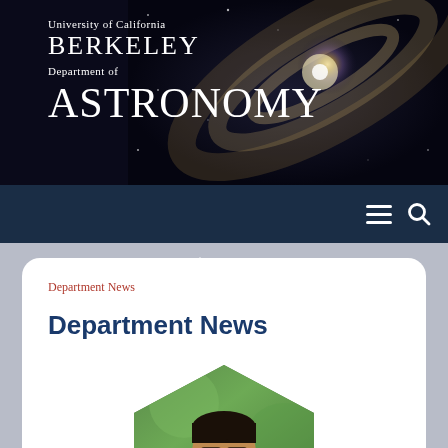[Figure (screenshot): University of California Berkeley Department of Astronomy website header with galaxy/spiral nebula background image and white text overlay]
University of California BERKELEY Department of ASTRONOMY
[Figure (screenshot): Dark blue navigation bar with hamburger menu icon and search icon on the right]
Department News
Department News
[Figure (photo): Headshot photo of a young man with glasses in a hexagonal crop with green blurred background]